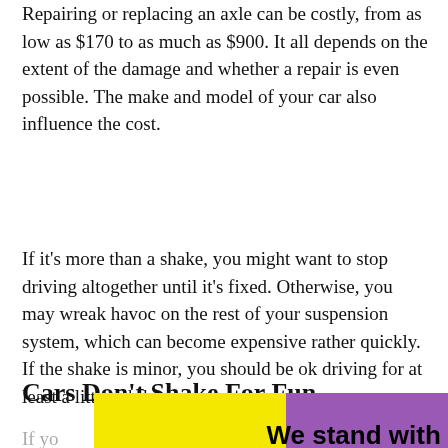Repairing or replacing an axle can be costly, from as low as $170 to as much as $900. It all depends on the extent of the damage and whether a repair is even possible. The make and model of your car also influence the cost.
If it's more than a shake, you might want to stop driving altogether until it's fixed. Otherwise, you may wreak havoc on the rest of your suspension system, which can become expensive rather quickly. If the shake is minor, you should be ok driving for at least a little while.
Cars Don't Shake For Fun
If yo...riving. It
[Figure (other): Advertisement banner with yellow, purple, and black sections reading 'We stand with you.' with a close button and logo]